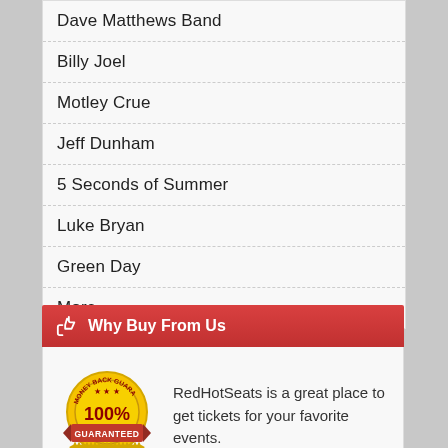Dave Matthews Band
Billy Joel
Motley Crue
Jeff Dunham
5 Seconds of Summer
Luke Bryan
Green Day
More...
Why Buy From Us
[Figure (illustration): 100% Money Back Guarantee badge in gold and red]
RedHotSeats is a great place to get tickets for your favorite events.